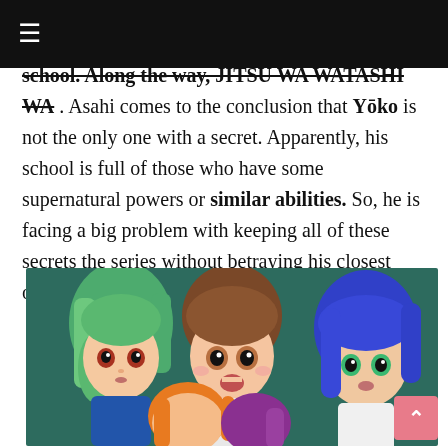≡
school. Along the way, JITSU WA WATASHI WA . Asahi comes to the conclusion that Yōko is not the only one with a secret. Apparently, his school is full of those who have some supernatural powers or similar abilities. So, he is facing a big problem with keeping all of these secrets the series without betraying his closest ones the rest of Japanese programs.
[Figure (illustration): Anime screenshot from Jitsu wa Watashi wa showing four anime characters with colorful hair (green, brown, orange, purple, blue) looking surprised against a dark teal background.]